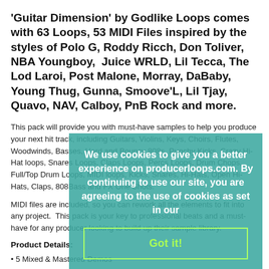'Guitar Dimension' by Godlike Loops comes with 63 Loops, 53 MIDI Files inspired by the styles of Polo G, Roddy Ricch, Don Toliver, NBA Youngboy, Juice WRLD, Lil Tecca, The Lod Laroi, Post Malone, Morray, DaBaby, Young Thug, Gunna, Smoove'L, Lil Tjay, Quavo, NAV, Calboy, PnB Rock and more.
This pack will provide you with must-have samples to help you produce your next hit track, including Guitars, Violins, Keys, Choirs, Flutes, Woodwinds, Basses, Hard and Bouncy 808s, Punchy Kicks, Crazy Hi-Hat loops, Snares Loops, Claps Loops, Percs Loops, Drum Chops, Full/Top Drum Loops, MIDI loops, Kicks, Snares, Hi-Hats, Open Hi-Hats, Claps, 808Bass and FX One Shots.
MIDI files are included, so you can rework all the elements to fit into any project. This pack is your key to professional beats and a must-have for any producer looking to build up their sample library.
Product Details:
• 5 Mixed & Mastered Demos
• 63 Drum and Melody Loops
[Figure (other): Cookie consent overlay popup with teal/green background. Text reads: 'We use cookies to give you a better experience on producerloops.com. By continuing to use our site, you are agreeing to the use of cookies as set in our' with a 'Got it!' button with green border.]